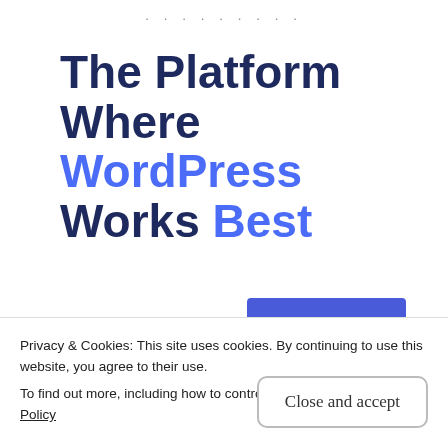The Platform Where WordPress Works Best
SEE PRICING
REPORT THIS AD
Related
Privacy & Cookies: This site uses cookies. By continuing to use this website, you agree to their use.
To find out more, including how to control cookies, see here: Cookie Policy
Close and accept
October 3, 2016    September 12, 2016